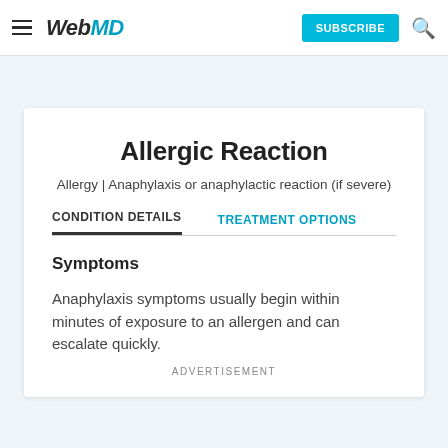WebMD | SUBSCRIBE
Allergic Reaction
Allergy | Anaphylaxis or anaphylactic reaction (if severe)
CONDITION DETAILS   TREATMENT OPTIONS
Symptoms
Anaphylaxis symptoms usually begin within minutes of exposure to an allergen and can escalate quickly.
ADVERTISEMENT